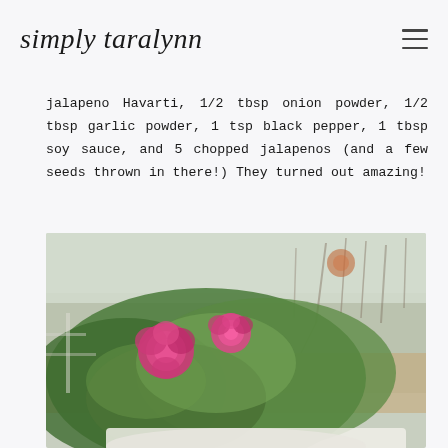simply taralynn
jalapeno Havarti, 1/2 tbsp onion powder, 1/2 tbsp garlic powder, 1 tsp black pepper, 1 tbsp soy sauce, and 5 chopped jalapenos (and a few seeds thrown in there!) They turned out amazing!
[Figure (photo): Outdoor photo showing pink roses in a green bush in the foreground, with a blurry outdoor background of bare trees and a field; the bottom portion shows a white plate or dish beginning to appear at the very bottom edge.]